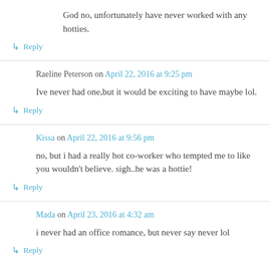God no, unfortunately have never worked with any hotties.
↳ Reply
Raeline Peterson on April 22, 2016 at 9:25 pm
Ive never had one,but it would be exciting to have maybe lol.
↳ Reply
Kissa on April 22, 2016 at 9:56 pm
no, but i had a really hot co-worker who tempted me to like you wouldn't believe. sigh..he was a hottie!
↳ Reply
Mada on April 23, 2016 at 4:32 am
i never had an office romance, but never say never lol
↳ Reply